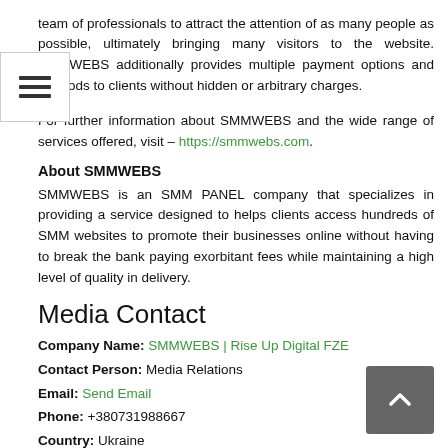team of professionals to attract the attention of as many people as possible, ultimately bringing many visitors to the website. SMMWEBS additionally provides multiple payment options and methods to clients without hidden or arbitrary charges.
For further information about SMMWEBS and the wide range of services offered, visit – https://smmwebs.com.
About SMMWEBS
SMMWEBS is an SMM PANEL company that specializes in providing a service designed to helps clients access hundreds of SMM websites to promote their businesses online without having to break the bank paying exorbitant fees while maintaining a high level of quality in delivery.
Media Contact
Company Name: SMMWEBS | Rise Up Digital FZE
Contact Person: Media Relations
Email: Send Email
Phone: +380731988667
Country: Ukraine
Website: https://smmwebs.com